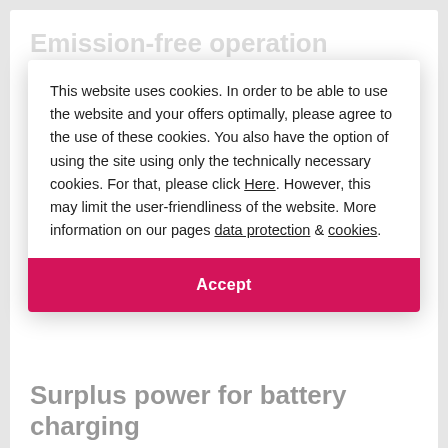Emission-free operation
The MAN D2862 LE422 diesel engine for the 'Vision of the Fjords' was already designed to achieve the highest level of emission efficiency. Into its third operation as Fjords Rail-System had come to keep others as operators, for minimizing sightseeing even purely for a peaceful and hours
The separate damping and insulation of all the individual components of the drive system cut vibration levels and ensure additional safety.
This website uses cookies. In order to be able to use the website and your offers optimally, please agree to the use of these cookies. You also have the option of using the site using only the technically necessary cookies. For that, please click Here. However, this may limit the user-friendliness of the website. More information on our pages data protection & cookies.
Accept
Surplus power for battery charging